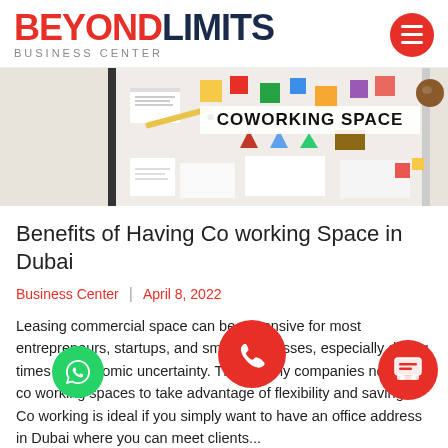[Figure (logo): Beyond Limits Business Center logo with red 'BEYOND' and dark navy 'LIMITS' text, subtitle 'BUSINESS CENTER' in grey]
[Figure (photo): Overhead view of a desk with 'COWORKING SPACE' text, colorful sticky notes and papers arranged on a white surface]
Benefits of Having Co working Space in Dubai
Business Center  |  April 8, 2022
Leasing commercial space can be expensive for most entrepreneurs, startups, and small businesses, especially during times of economic uncertainty. Thus, many companies now use co working spaces to take advantage of flexibility and savings. Co working is ideal if you simply want to have an office address in Dubai where you can meet clients...